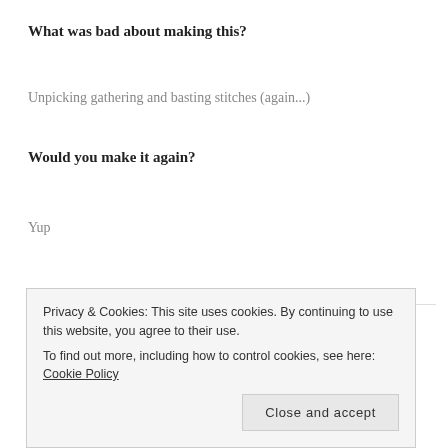What was bad about making this?
Unpicking gathering and basting stitches (again...)
Would you make it again?
Yup
Green shirt
Privacy & Cookies: This site uses cookies. By continuing to use this website, you agree to their use.
To find out more, including how to control cookies, see here: Cookie Policy
Close and accept